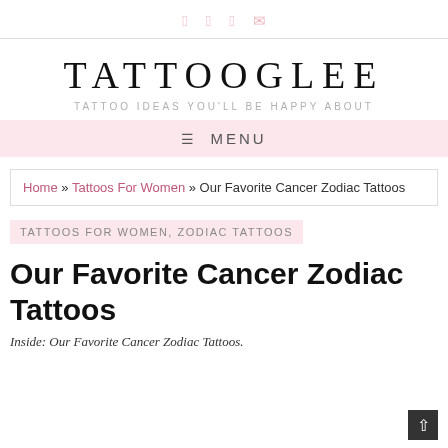TATTOOGLEE — TATTOO IDEAS YOU'LL BE HAPPY ABOUT
≡ MENU
Home » Tattoos For Women » Our Favorite Cancer Zodiac Tattoos
TATTOOS FOR WOMEN, ZODIAC TATTOOS
Our Favorite Cancer Zodiac Tattoos
Inside: Our Favorite Cancer Zodiac Tattoos.